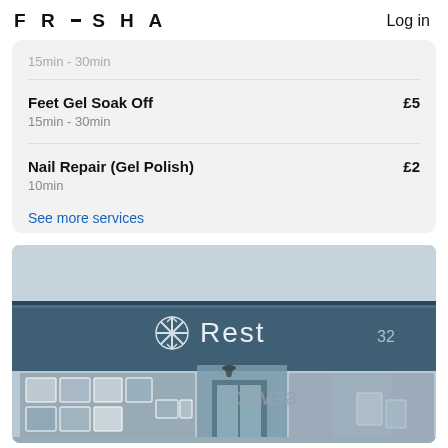FRESHA  Log in
15min - 30min
Feet Gel Soak Off  £5
15min - 30min
Nail Repair (Gel Polish)  £2
10min
See more services
[Figure (photo): Storefront photo of a salon called 'Rest' at number 32, showing a blue facade with a snowflake logo, large glass windows displaying framed artwork, and a visible interior with a pendant light.]